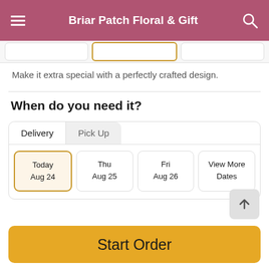Briar Patch Floral & Gift
Make it extra special with a perfectly crafted design.
When do you need it?
| Delivery | Pick Up |
| --- | --- |
| Today Aug 24 | Thu Aug 25 | Fri Aug 26 | View More Dates |
Guaranteed SAFE Checkout
Start Order